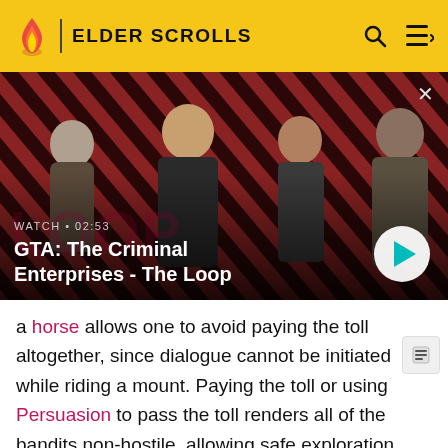ELDER SCROLLS
[Figure (screenshot): GTA: The Criminal Enterprises - The Loop video thumbnail with four game characters on a red diagonal striped background. Shows WATCH • 02:53 label and video title. Play button visible bottom right.]
a horse allows one to avoid paying the toll altogether, since dialogue cannot be initiated while riding a mount. Paying the toll or using Persuasion to pass the toll renders all of the bandits non-hostile, allowing safe exploration of the towers without conflict, and a chance to stealth kill